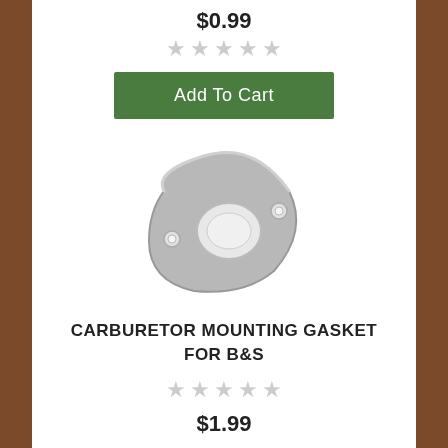$0.99
Add To Cart
[Figure (photo): Carburetor mounting gasket for B&S — a metal triangular shaped gasket with a central round hole and two smaller bolt holes]
CARBURETOR MOUNTING GASKET FOR B&S
★★★★★ (empty stars rating)
$1.99
Add To Cart